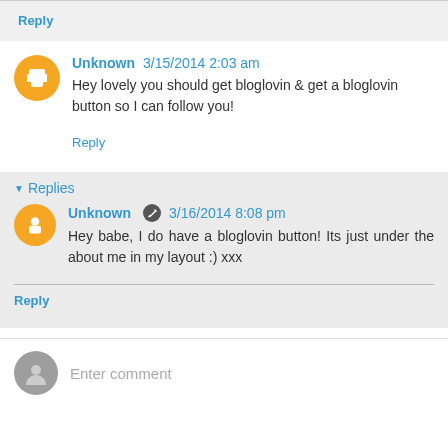Reply
Unknown 3/15/2014 2:03 am
Hey lovely you should get bloglovin & get a bloglovin button so I can follow you!
Reply
Replies
Unknown 3/16/2014 8:08 pm
Hey babe, I do have a bloglovin button! Its just under the about me in my layout :) xxx
Reply
Enter comment